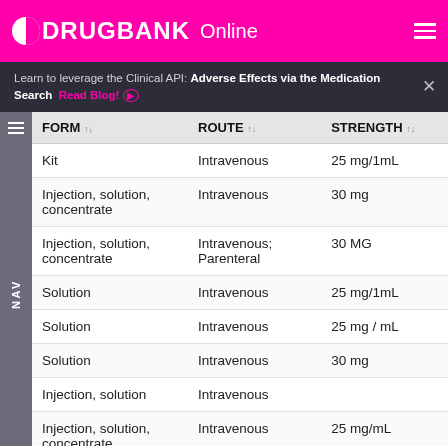DRUGBANK Online
Learn to leverage the Clinical API: Adverse Effects via the Medication Search Read Blog!
| FORM | ROUTE | STRENGTH |
| --- | --- | --- |
| Kit | Intravenous | 25 mg/1mL |
| Injection, solution, concentrate | Intravenous | 30 mg |
| Injection, solution, concentrate | Intravenous; Parenteral | 30 MG |
| Solution | Intravenous | 25 mg/1mL |
| Solution | Intravenous | 25 mg / mL |
| Solution | Intravenous | 30 mg |
| Injection, solution | Intravenous |  |
| Injection, solution, concentrate | Intravenous | 25 mg/mL |